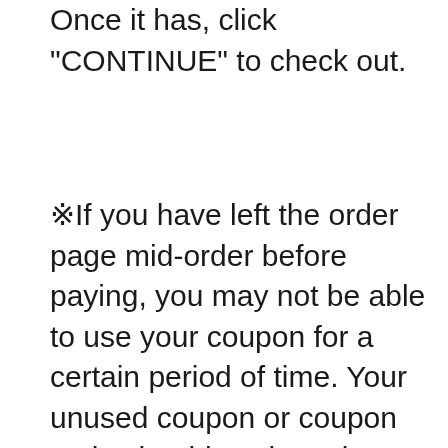Once it has, click "CONTINUE" to check out.
※If you have left the order page mid-order before paying, you may not be able to use your coupon for a certain period of time. Your unused coupon or coupon code should work again one or two hours from the time you stopped mid-order. It cannot be applied until it becomes valid again. ※Each coupon can only be used with items coming from a single sales company that have the same delivery month. If your order does not meet these conditions, you will be unable to use the coupon. You will need to uncheck the coupon's check box and click "APPLY" to remove the coupon and continue with your order. (You will still be able to use your coupon with a